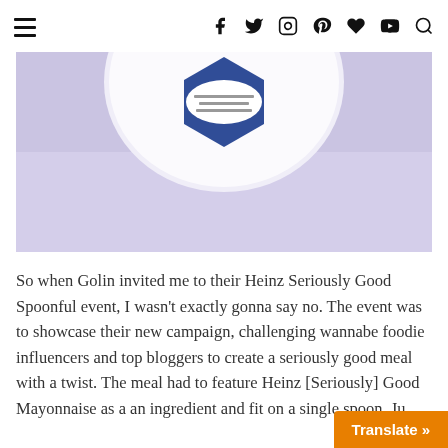Navigation header with hamburger menu and social icons: facebook, twitter, instagram, pinterest, heart, youtube, search
[Figure (photo): Partial view of a Heinz Seriously Good Mayonnaise jar on a pale purple/lavender background. Only the top of the jar with its blue hexagonal label is visible.]
So when Golin invited me to their Heinz Seriously Good Spoonful event, I wasn't exactly gonna say no. The event was to showcase their new campaign, challenging wannabe foodie influencers and top bloggers to create a seriously good meal with a twist. The meal had to feature Heinz [Seriously] Good Mayonnaise as a an ingredient and fit on a single spoon. Ju